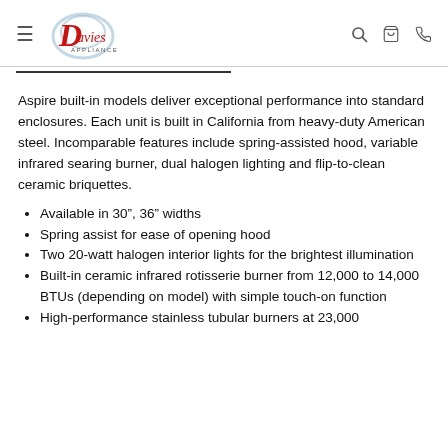Davies Appliance — navigation header
Aspire built-in models deliver exceptional performance into standard enclosures. Each unit is built in California from heavy-duty American steel. Incomparable features include spring-assisted hood, variable infrared searing burner, dual halogen lighting and flip-to-clean ceramic briquettes.
Available in 30”, 36” widths
Spring assist for ease of opening hood
Two 20-watt halogen interior lights for the brightest illumination
Built-in ceramic infrared rotisserie burner from 12,000 to 14,000 BTUs (depending on model) with simple touch-on function
High-performance stainless tubular burners at 23,000